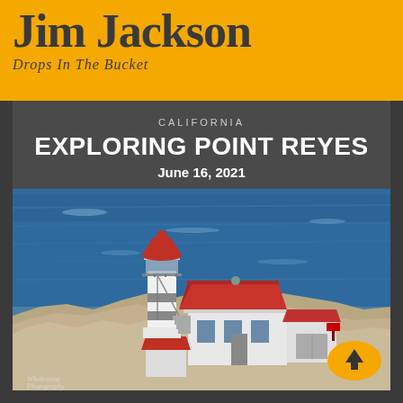Jim Jackson
Drops In The Bucket
CALIFORNIA
EXPLORING POINT REYES
June 16, 2021
[Figure (photo): Aerial photograph of Point Reyes Lighthouse on rocky coastal cliffs with a red-roofed lighthouse tower and adjacent white building with red roof, overlooking deep blue ocean water. A yellow scroll-to-top button overlays the bottom right. Watermark reads 'Wholesome Photography' at bottom left.]